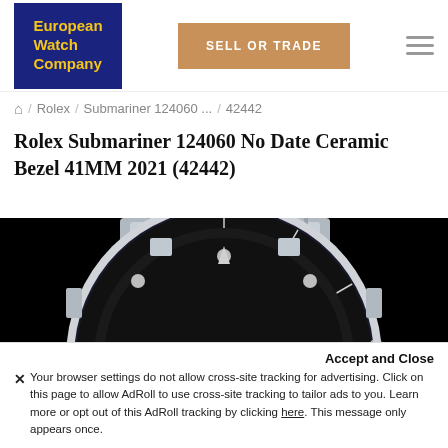[Figure (logo): European Watch Company logo — navy blue background with yellow text]
SELL OR TRADE
🏠 / Rolex / Submariner 124060 ... / 42442
Rolex Submariner 124060 No Date Ceramic Bezel 41MM 2021 (42442)
[Figure (photo): Close-up photo of a Rolex Submariner 124060 watch showing the black ceramic bezel, dial with luminous dot hour markers, and stainless steel bracelet on a black background]
Accept and Close
✕ Your browser settings do not allow cross-site tracking for advertising. Click on this page to allow AdRoll to use cross-site tracking to tailor ads to you. Learn more or opt out of this AdRoll tracking by clicking here. This message only appears once.